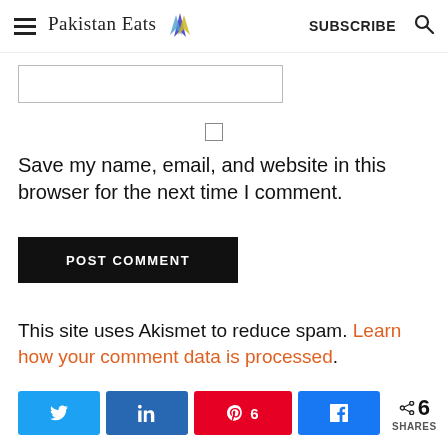Pakistan Eats — SUBSCRIBE
Save my name, email, and website in this browser for the next time I comment.
POST COMMENT
This site uses Akismet to reduce spam. Learn how your comment data is processed.
6 SHARES